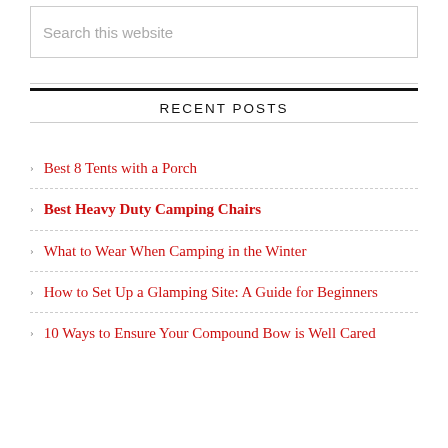Search this website
RECENT POSTS
Best 8 Tents with a Porch
Best Heavy Duty Camping Chairs
What to Wear When Camping in the Winter
How to Set Up a Glamping Site: A Guide for Beginners
10 Ways to Ensure Your Compound Bow is Well Cared